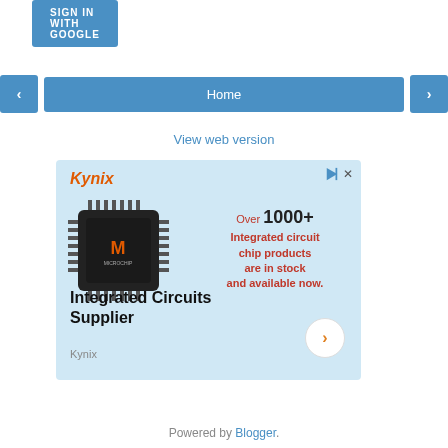[Figure (screenshot): Sign in with Google button (blue rounded rectangle)]
[Figure (screenshot): Navigation bar with left arrow, Home button, right arrow — all blue]
View web version
[Figure (infographic): Kynix advertisement: Integrated circuit chip products, over 1000+ in stock. Shows microchip image. Text: Integrated Circuits Supplier. Kynix.]
Powered by Blogger.